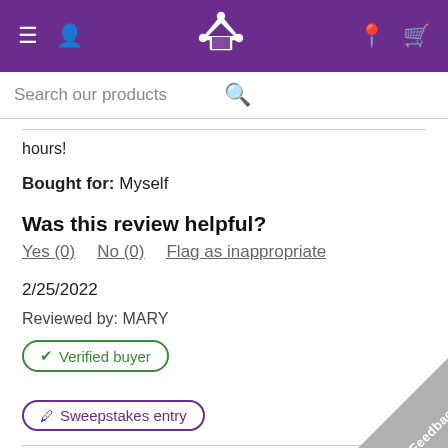Navigation bar with menu, user, crown logo, location, and cart icons
Search our products
hours!
Bought for: Myself
Was this review helpful?
Yes (0)  No (0)  Flag as inappropriate
2/25/2022
Reviewed by: MARY
✔ Verified buyer
🖊 Sweepstakes entry
[Figure (other): Five purple star icons indicating a star rating]